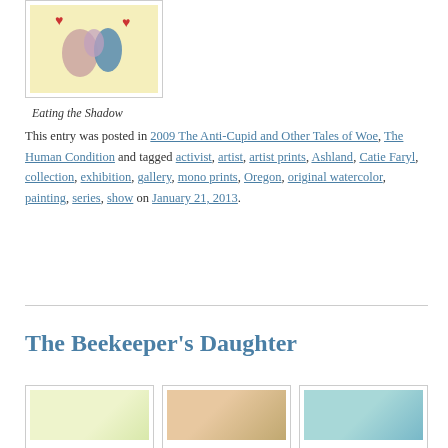[Figure (illustration): Framed artwork depicting abstract figures with hearts on yellow background, titled Eating the Shadow]
Eating the Shadow
This entry was posted in 2009 The Anti-Cupid and Other Tales of Woe, The Human Condition and tagged activist, artist, artist prints, Ashland, Catie Faryl, collection, exhibition, gallery, mono prints, Oregon, original watercolor, painting, series, show on January 21, 2013.
The Beekeeper's Daughter
[Figure (illustration): Three framed artworks partially visible at bottom of page]
[Figure (illustration): Colorful botanical illustration]
[Figure (illustration): Teal/aqua toned artwork]